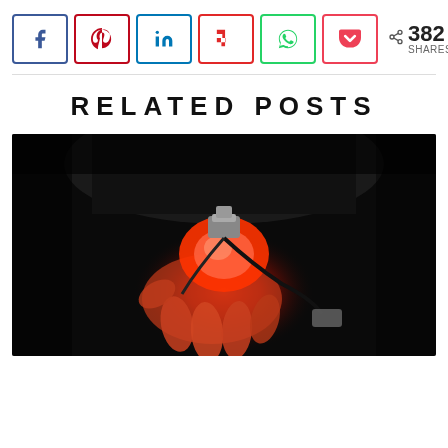[Figure (infographic): Social share bar with buttons for Facebook, Pinterest, LinkedIn, Flipboard, WhatsApp, Pocket, and a share count showing 382 SHARES]
RELATED POSTS
[Figure (photo): A person's hand holding a glowing red illuminated device with a gray clip/clamp on top, against a dark background. The hand is lit red from the device light.]